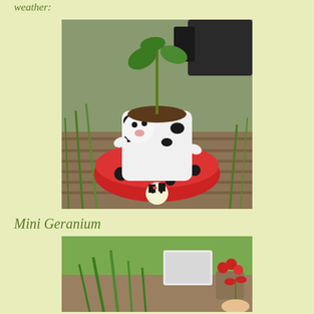weather:
[Figure (photo): A small plant growing in a novelty white and black cow-shaped pot, sitting inside a red ladybug-shaped bowl/saucer, placed on wooden decking outdoors with grass and other pots visible in the background.]
Mini Geranium
[Figure (photo): Outdoor garden scene showing small plants and flowers, including red geraniums, with a white seed tray and other pots visible on the ground. A hand is holding one of the small plants.]